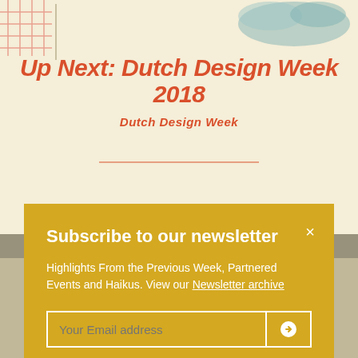[Figure (illustration): Decorative website background with abstract illustration in top corners on cream/beige background]
Up Next: Dutch Design Week 2018
Dutch Design Week
[Figure (screenshot): Newsletter subscription modal overlay with yellow/golden background]
Subscribe to our newsletter
Highlights From the Previous Week, Partnered Events and Haikus. View our Newsletter archive
Your Email address
[Figure (photo): Blurred/muted photo of people and objects in lower portion of page]